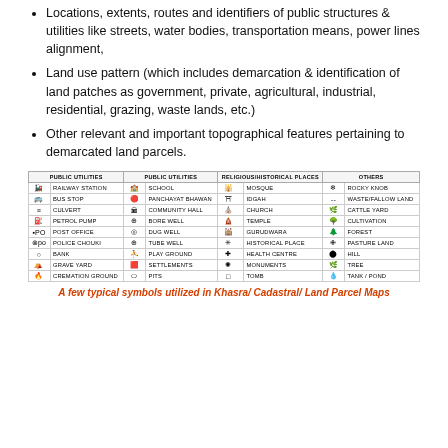Locations, extents, routes and identifiers of public structures & utilities like streets, water bodies, transportation means, power lines alignment,
Land use pattern (which includes demarcation & identification of land patches as government, private, agricultural, industrial, residential, grazing, waste lands, etc.)
Other relevant and important topographical features pertaining to demarcated land parcels.
[Figure (table-as-image): A symbol legend table for Khasra/Cadastral/Land Parcel Maps showing icons and labels for Public Utilities, Religious/Historical Places, and Others categories including Railway Station, Bus Stop, Culvert, Petrol Pump, Post Office, Police Chouki, Bank, Grave Yard, Cremation Ground, School, Panchayat Bhawan, Community Hall, Bore Well, Dug Well, Tube Well, Play Ground, Settlements, Pits, Mosque, Idgah, Church, Temple, Gurudwara, Historical Place, Health Centre, Monuments, Tomb, Rocky Knob, Waste/Fallow Land, Cattle Yard, Cultivation, Forest, Pasture Land, Hill, Tree, Tank/Pond]
A few typical symbols utilized in Khasra/ Cadastral/ Land Parcel Maps